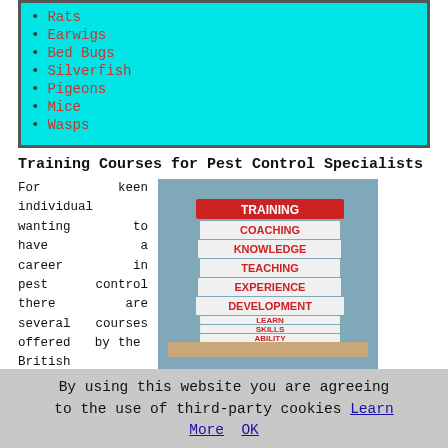Rats
Earwigs
Bed Bugs
Silverfish
Pigeons
Mice
Wasps
Training Courses for Pest Control Specialists
For keen individual wanting to have a career in pest control there are several courses offered by the British Pest Control Association (BPCA). Training courses offered
[Figure (photo): Stack of books/binders on a shelf with red text labels reading TRAINING, COACHING, KNOWLEDGE, TEACHING, EXPERIENCE, DEVELOPMENT, LEARN, SKILLS, ABILITY]
By using this website you are agreeing to the use of third-party cookies Learn More  OK